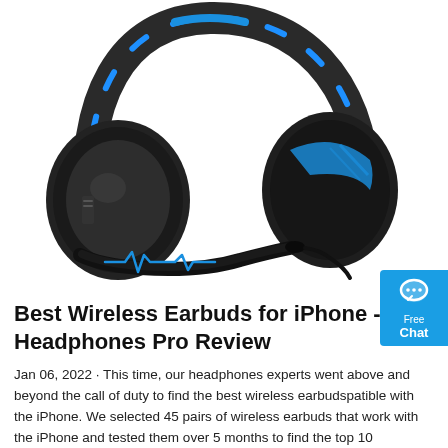[Figure (photo): A black and blue gaming/wireless headset with large cushioned ear cups, a boom microphone arm at the bottom with a blue heartbeat/EKG design, and blue accent stripes on the headband. A small blue chat widget with a speech bubble icon and text 'Free Chat' is visible in the top right corner.]
Best Wireless Earbuds for iPhone - Headphones Pro Review
Jan 06, 2022 · This time, our headphones experts went above and beyond the call of duty to find the best wireless earbudspatible with the iPhone. We selected 45 pairs of wireless earbuds that work with the iPhone and tested them over 5 months to find the top 10